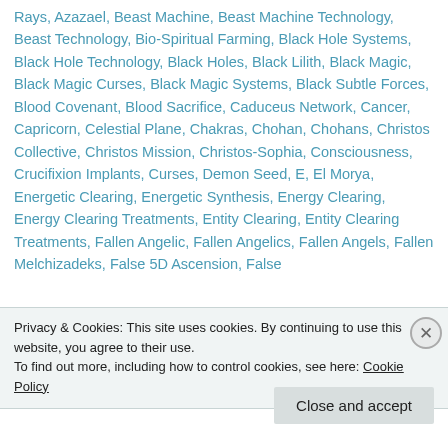Rays, Azazael, Beast Machine, Beast Machine Technology, Beast Technology, Bio-Spiritual Farming, Black Hole Systems, Black Hole Technology, Black Holes, Black Lilith, Black Magic, Black Magic Curses, Black Magic Systems, Black Subtle Forces, Blood Covenant, Blood Sacrifice, Caduceus Network, Cancer, Capricorn, Celestial Plane, Chakras, Chohan, Chohans, Christos Collective, Christos Mission, Christos-Sophia, Consciousness, Crucifixion Implants, Curses, Demon Seed, E, El Morya, Energetic Clearing, Energetic Synthesis, Energy Clearing, Energy Clearing Treatments, Entity Clearing, Entity Clearing Treatments, Fallen Angelic, Fallen Angelics, Fallen Angels, Fallen Melchizadeks, False 5D Ascension, False
Privacy & Cookies: This site uses cookies. By continuing to use this website, you agree to their use. To find out more, including how to control cookies, see here: Cookie Policy